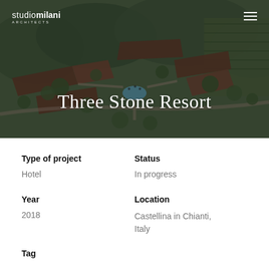[Figure (photo): Aerial architectural rendering of Three Stone Resort showing building complex surrounded by trees and vegetation, with a pool visible in the center]
Three Stone Resort
Type of project
Hotel
Status
In progress
Year
2018
Location
Castellina in Chianti, Italy
Tag